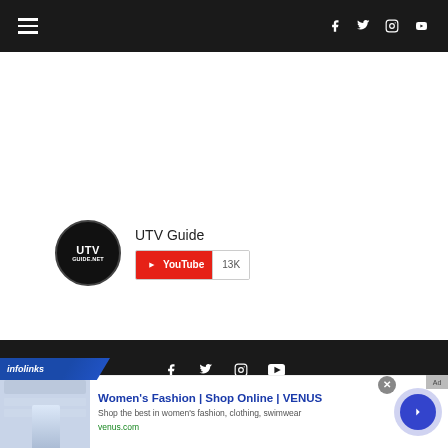Navigation bar with hamburger menu and social icons (Facebook, Twitter, Instagram, YouTube)
[Figure (logo): UTV Guide logo - circular black logo with white text UTV GUIDE.NET]
UTV Guide
[Figure (other): YouTube subscribe button showing 13K subscribers]
Social icons footer bar with Facebook, Twitter, Instagram, YouTube icons
[Figure (other): Infolinks advertisement banner for Women's Fashion | Shop Online | VENUS - Shop the best in women's fashion, clothing, swimwear - venus.com]